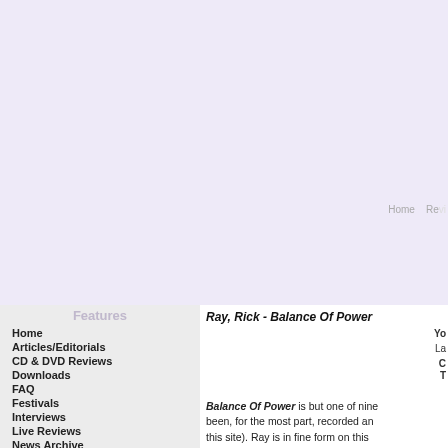Home  Reviews
Features
Home
Articles/Editorials
CD & DVD Reviews
Downloads
FAQ
Festivals
Interviews
Live Reviews
News Archive
Release Calendar
Releases Archive
Search
Top 10
Use AvantGo
Web Links
Ray, Rick - Balance Of Power
Balance Of Power is but one of nine... been, for the most part, recorded and... this site). Ray is in fine form on this d... sound like other tracks on previous (... patented Rick Ray pattern. A lyricist ... used for most of the tracks - and a v...
But then again, it's his guitar skills Ra... bass, and drumming - all of which he... another fixture in the Ray oeuvre, co... Of The Sinners" the clarinet is better...